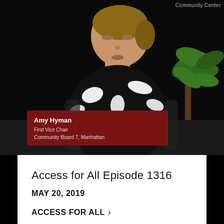[Figure (screenshot): Video screenshot of Amy Hyman seated, wearing a black and white patterned top, against a dark background with a plant visible. A lower-third chyron reads 'Amy Hyman / First Vice Chair / Community Board 7, Manhattan'.]
Access for All Episode 1316
MAY 20, 2019
ACCESS FOR ALL >
NYCHA Public Housing